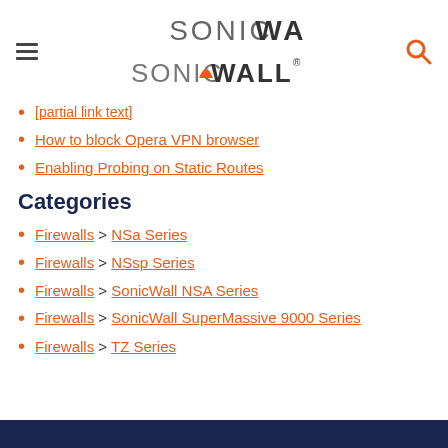SonicWALL
[partial link - truncated]
How to block Opera VPN browser
Enabling Probing on Static Routes
Categories
Firewalls > NSa Series
Firewalls > NSsp Series
Firewalls > SonicWall NSA Series
Firewalls > SonicWall SuperMassive 9000 Series
Firewalls > TZ Series